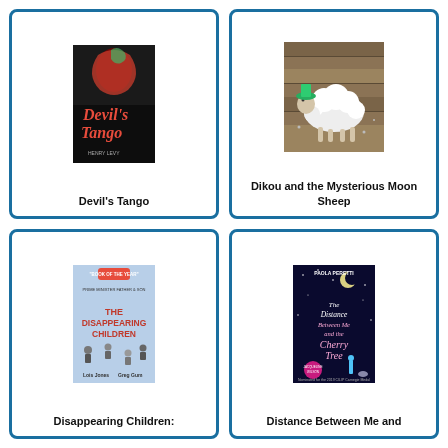[Figure (illustration): Book cover of Devil's Tango - dark cover with red text and figure]
Devil's Tango
[Figure (illustration): Book cover of Dikou and the Mysterious Moon Sheep - illustration of a white fluffy sheep]
Dikou and the Mysterious Moon Sheep
[Figure (illustration): Book cover of The Disappearing Children: Prime Minister Father & Son - illustrated children's book cover]
Disappearing Children:
[Figure (illustration): Book cover of The Distance Between Me and the Cherry Tree by Paola Peretti - dark night sky cover with pink title text]
Distance Between Me and